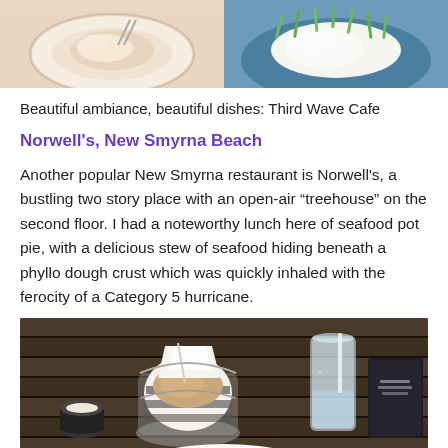[Figure (photo): Two side-by-side food photos cropped at top: left shows a dish with creamy/pale food item with utensil, right shows a dish with green onion garnish on blue plate]
Beautiful ambiance, beautiful dishes: Third Wave Cafe
Norwell's, New Smyrna Beach
Another popular New Smyrna restaurant is Norwell's, a bustling two story place with an open-air “treehouse” on the second floor. I had a noteworthy lunch here of seafood pot pie, with a delicious stew of seafood hiding beneath a phyllo dough crust which was quickly inhaled with the ferocity of a Category 5 hurricane.
[Figure (photo): Restaurant table scene at Norwell's showing a striped bowl with seafood pot pie in a metal basket, a glass of water, a small condiment cup, and dark menu/napkins on a wooden slat table]